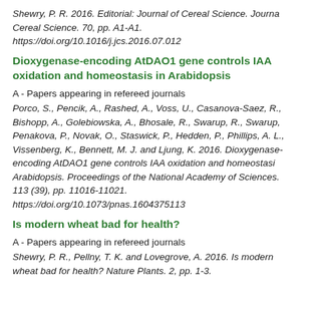Shewry, P. R. 2016. Editorial: Journal of Cereal Science. Journal of Cereal Science. 70, pp. A1-A1. https://doi.org/10.1016/j.jcs.2016.07.012
Dioxygenase-encoding AtDAO1 gene controls IAA oxidation and homeostasis in Arabidopsis
A - Papers appearing in refereed journals
Porco, S., Pencik, A., Rashed, A., Voss, U., Casanova-Saez, R., Bishopp, A., Golebiowska, A., Bhosale, R., Swarup, R., Swarup, Penakova, P., Novak, O., Staswick, P., Hedden, P., Phillips, A. L., Vissenberg, K., Bennett, M. J. and Ljung, K. 2016. Dioxygenase-encoding AtDAO1 gene controls IAA oxidation and homeostasis in Arabidopsis. Proceedings of the National Academy of Sciences. 113 (39), pp. 11016-11021. https://doi.org/10.1073/pnas.1604375113
Is modern wheat bad for health?
A - Papers appearing in refereed journals
Shewry, P. R., Pellny, T. K. and Lovegrove, A. 2016. Is modern wheat bad for health? Nature Plants. 2, pp. 1-3.